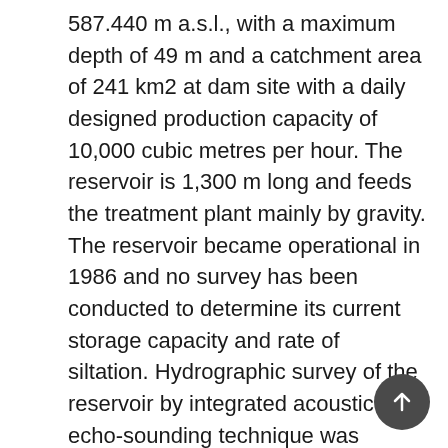587.440 m a.s.l., with a maximum depth of 49 m and a catchment area of 241 km2 at dam site with a daily designed production capacity of 10,000 cubic metres per hour. The reservoir is 1,300 m long and feeds the treatment plant mainly by gravity. The reservoir became operational in 1986 and no survey has been conducted to determine its current storage capacity and rate of siltation. Hydrographic survey of the reservoir by integrated acoustic echo-sounding technique was conducted in November 2012 to determine the level and rate of siltation. The result obtained shows that the reservoir has lost 12.0 meters depth to siltation in 26 years of its operation; indicating 24.5% loss in installed storage capacity. The present bathymetric survey provides baseline information for future work on siltation depth and annual rates of storage capacity loss for the Lower Usuma reservoir.